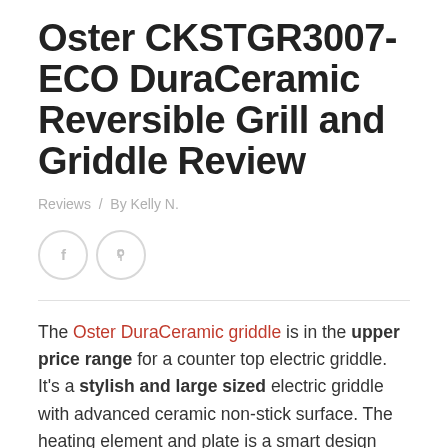Oster CKSTGR3007-ECO DuraCeramic Reversible Grill and Griddle Review
Reviews / By Kelly N.
[Figure (illustration): Two circular social media icon buttons: Facebook (f) and Pinterest (p), outlined in light gray]
The Oster DuraCeramic griddle is in the upper price range for a counter top electric griddle. It's a stylish and large sized electric griddle with advanced ceramic non-stick surface. The heating element and plate is a smart design that lifts out and can be flipped over. One side